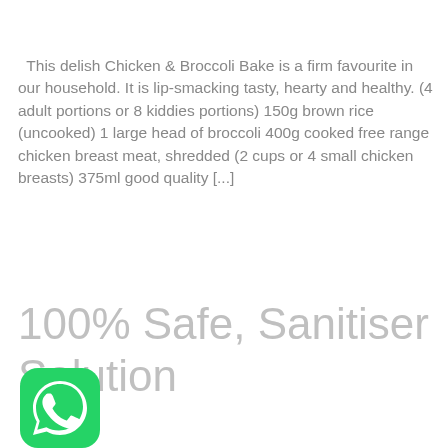This delish Chicken & Broccoli Bake is a firm favourite in our household. It is lip-smacking tasty, hearty and healthy. (4 adult portions or 8 kiddies portions) 150g brown rice (uncooked) 1 large head of broccoli 400g cooked free range chicken breast meat, shredded (2 cups or 4 small chicken breasts) 375ml good quality [...]
100% Safe, Sanitiser Solution
[Figure (logo): WhatsApp logo — green rounded square icon with white phone handset inside speech bubble]